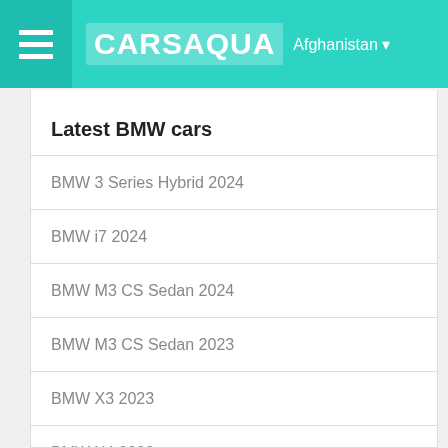CARSAQUA Afghanistan
Latest BMW cars
BMW 3 Series Hybrid 2024
BMW i7 2024
BMW M3 CS Sedan 2024
BMW M3 CS Sedan 2023
BMW X3 2023
BMW X4 2023
BMW X5 2024
BMW X5 2023
BMW X5 Hybrid 2024